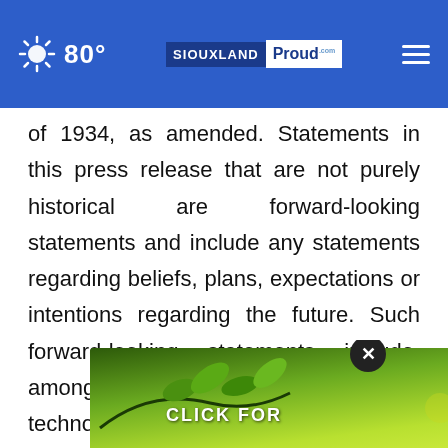80° | SIOUXLAND Proud
of 1934, as amended. Statements in this press release that are not purely historical are forward-looking statements and include any statements regarding beliefs, plans, expectations or intentions regarding the future. Such forward-looking statements include, among other things, references to novel technologies and methods, our ability to recruit additional field sales representatives and their effectiveness, our business and product development and market
[Figure (photo): Advertisement overlay with green/yellow nature background and 'CLICK FOR' text, with a close (X) button]